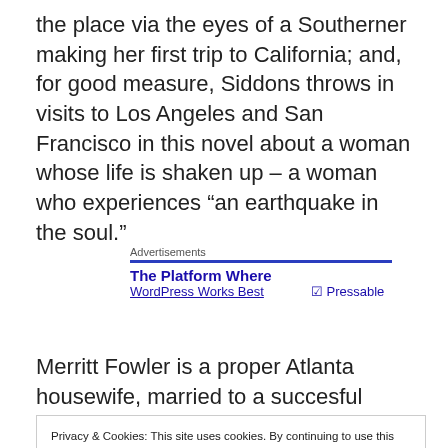the place via the eyes of a Southerner making her first trip to California; and, for good measure, Siddons throws in visits to Los Angeles and San Francisco in this novel about a woman whose life is shaken up – a woman who experiences “an earthquake in the soul.”
[Figure (screenshot): Advertisement box with label 'Advertisements', a blue horizontal line, bold blue text 'The Platform Where' and partially visible 'WordPress Works Best' subtitle and logo.]
Merritt Fowler is a proper Atlanta housewife, married to a succesful physician named Pom, and mother to Glynn, her
Privacy & Cookies: This site uses cookies. By continuing to use this website, you agree to their use. To find out more, including how to control cookies, see here: Cookie Policy
Fowler. Pom turns out to be one of those good men, (he